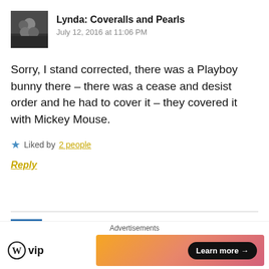[Figure (photo): Avatar photo of two people, man and woman, with dark background]
Lynda: Coveralls and Pearls
July 12, 2016 at 11:06 PM
Sorry, I stand corrected, there was a Playboy bunny there – there was a cease and desist order and he had to cover it – they covered it with Mickey Mouse.
★ Liked by 2 people
Reply
[Figure (screenshot): WordPress VIP advertisement banner with Learn more button]